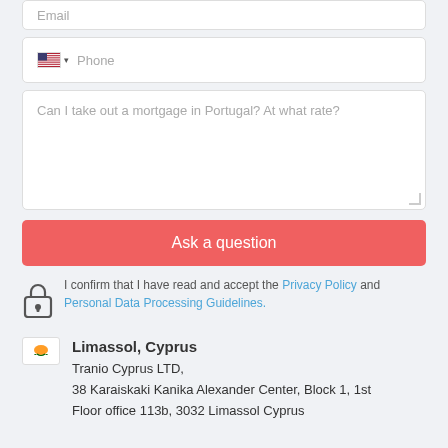Email
Phone
Can I take out a mortgage in Portugal? At what rate?
Ask a question
I confirm that I have read and accept the Privacy Policy and Personal Data Processing Guidelines.
Limassol, Cyprus
Tranio Cyprus LTD,
38 Karaiskaki Kanika Alexander Center, Block 1, 1st Floor office 113b, 3032 Limassol Cyprus